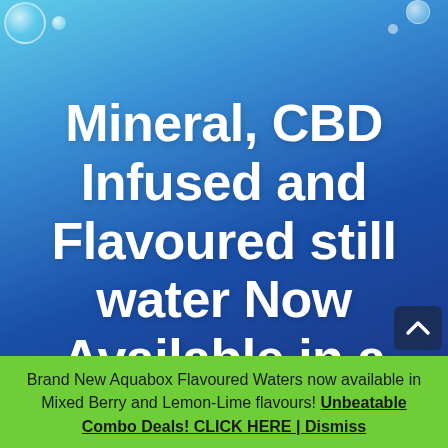Mineral, CBD Infused and Flavoured still water Now Available in a Box!
Brand New Aquabox Flavoured Waters now available in Mixed Berry and Lemon-Lime flavours! Unbeatable Combo Deals! CLICK HERE | Dismiss